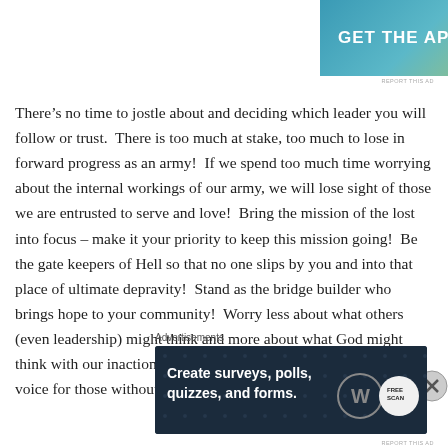[Figure (other): App advertisement banner with teal-to-yellow gradient background reading GET THE APP with a phone mockup on the right]
There’s no time to jostle about and deciding which leader you will follow or trust.  There is too much at stake, too much to lose in forward progress as an army!  If we spend too much time worrying about the internal workings of our army, we will lose sight of those we are entrusted to serve and love!  Bring the mission of the lost into focus – make it your priority to keep this mission going!  Be the gate keepers of Hell so that no one slips by you and into that place of ultimate depravity!  Stand as the bridge builder who brings hope to your community!  Worry less about what others (even leadership) might think and more about what God might think with our inactions!  Get on with it!!  Fight on and be the voice for those without one.  The very progression of
Advertisements
[Figure (other): WordPress advertisement banner with dark navy background reading Create surveys, polls, quizzes, and forms. with WordPress logo and a circular badge on the right]